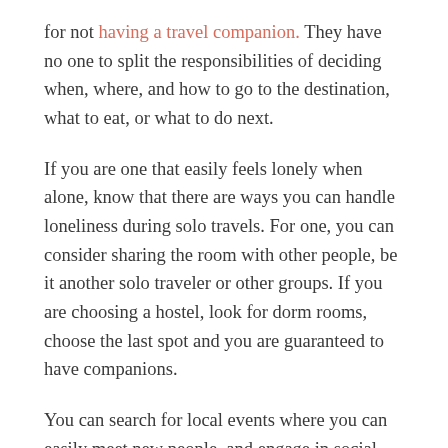for not having a travel companion. They have no one to split the responsibilities of deciding when, where, and how to go to the destination, what to eat, or what to do next.
If you are one that easily feels lonely when alone, know that there are ways you can handle loneliness during solo travels. For one, you can consider sharing the room with other people, be it another solo traveler or other groups. If you are choosing a hostel, look for dorm rooms, choose the last spot and you are guaranteed to have companions.
You can search for local events where you can easily meet new people, and engage in social activities you are interested in. Join tours and start a conversation...